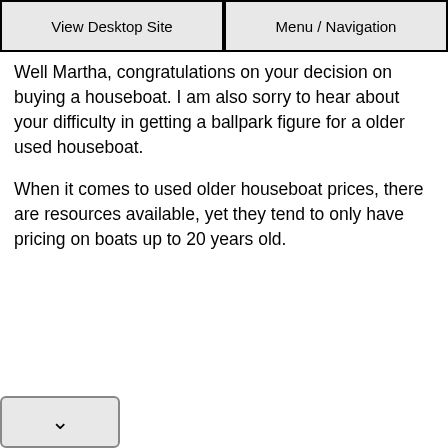View Desktop Site | Menu / Navigation
Well Martha, congratulations on your decision on buying a houseboat. I am also sorry to hear about your difficulty in getting a ballpark figure for a older used houseboat.
When it comes to used older houseboat prices, there are resources available, yet they tend to only have pricing on boats up to 20 years old.